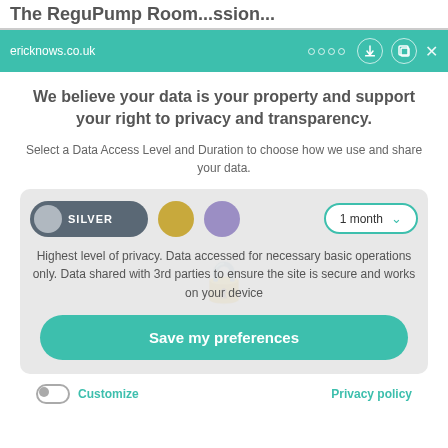The Regu...ump Room...ssion...
ericknows.co.uk
We believe your data is your property and support your right to privacy and transparency.
Select a Data Access Level and Duration to choose how we use and share your data.
[Figure (screenshot): Privacy consent panel with SILVER toggle switch selected, gold circle, purple circle, and '1 month' dropdown. Below are options for data access level.]
Highest level of privacy. Data accessed for necessary basic operations only. Data shared with 3rd parties to ensure the site is secure and works on your device
Save my preferences
Customize
Privacy policy